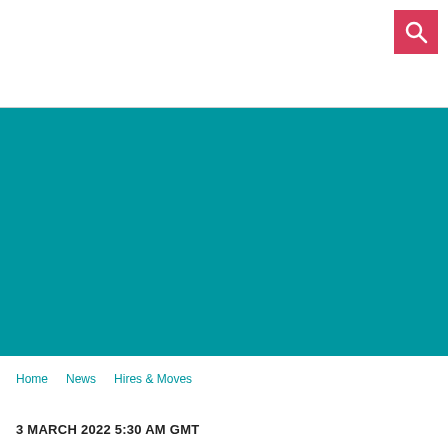[Figure (other): Teal/green banner image area]
Home   News   Hires & Moves
3 MARCH 2022 5:30 AM GMT